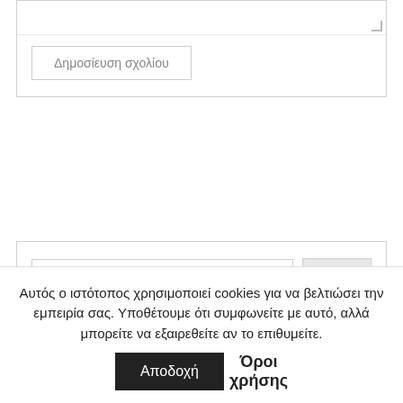[Figure (screenshot): Comment text area with resize handle at bottom right]
Δημοσίευση σχολίου
[Figure (screenshot): Search bar with text input labeled 'Κείμενο αναζήτησης' and OK button]
ΑΡΙΣΤΕΡΟΣ ΨΑΛΤΗΣ
Αυτός ο ιστότοπος χρησιμοποιεί cookies για να βελτιώσει την εμπειρία σας. Υποθέτουμε ότι συμφωνείτε με αυτό, αλλά μπορείτε να εξαιρεθείτε αν το επιθυμείτε.
Αποδοχή
Όροι χρήσης